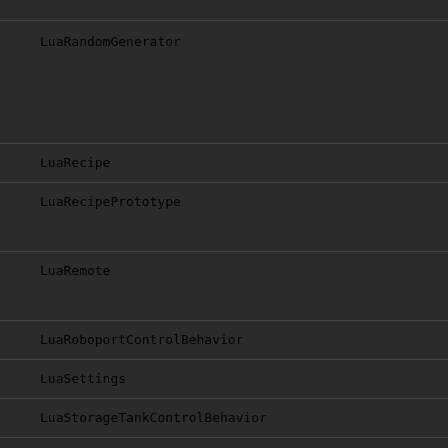LuaRandomGenerator
LuaRecipe
LuaRecipePrototype
LuaRemote
LuaRoboportControlBehavior
LuaSettings
LuaStorageTankControlBehavior
LuaStyle